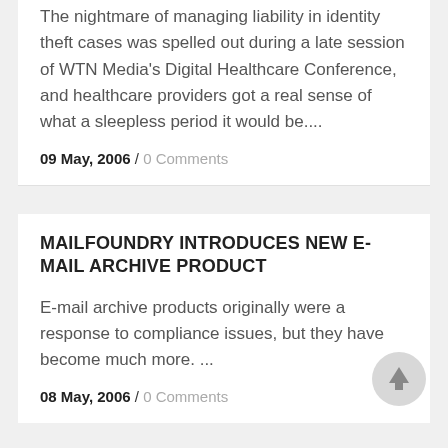The nightmare of managing liability in identity theft cases was spelled out during a late session of WTN Media's Digital Healthcare Conference, and healthcare providers got a real sense of what a sleepless period it would be....
09 May, 2006 / 0 Comments
MAILFOUNDRY INTRODUCES NEW E-MAIL ARCHIVE PRODUCT
E-mail archive products originally were a response to compliance issues, but they have become much more. ...
08 May, 2006 / 0 Comments